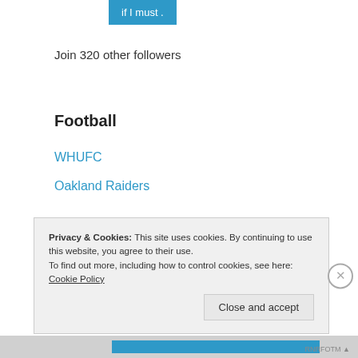[Figure (other): Blue button partially visible at top, showing text 'if I must .']
Join 320 other followers
Football
WHUFC
Oakland Raiders
Gaming
RLLMUK – Best gaming forum in the UK.
Privacy & Cookies: This site uses cookies. By continuing to use this website, you agree to their use.
To find out more, including how to control cookies, see here: Cookie Policy
Close and accept